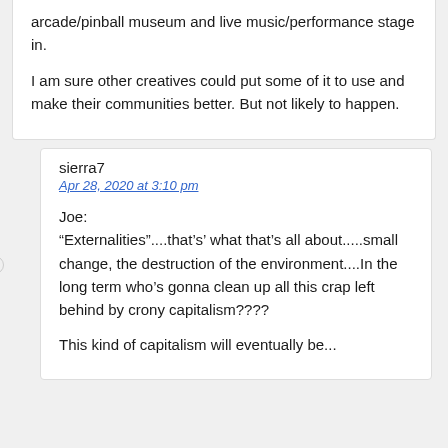arcade/pinball museum and live music/performance stage in.

I am sure other creatives could put some of it to use and make their communities better. But not likely to happen.
sierra7
Apr 28, 2020 at 3:10 pm

Joe:
"Externalities"....that's' what that's all about.....small change, the destruction of the environment....In the long term who's gonna clean up all this crap left behind by crony capitalism????